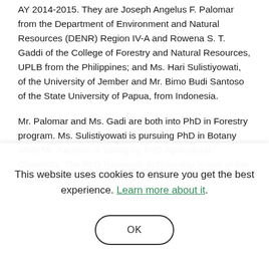AY 2014-2015. They are Joseph Angelus F. Palomar from the Department of Environment and Natural Resources (DENR) Region IV-A and Rowena S. T. Gaddi of the College of Forestry and Natural Resources, UPLB from the Philippines; and Ms. Hari Sulistiyowati, of the University of Jember and Mr. Bimo Budi Santoso of the State University of Papua, from Indonesia.
Mr. Palomar and Ms. Gadi are both into PhD in Forestry program. Ms. Sulistiyowati is pursuing PhD in Botany while Mr. Santoso is taking up PhD Agricultural Chemistry. The PhD Research Scholarship is one of the regular...
This website uses cookies to ensure you get the best experience. Learn more about it.
OK